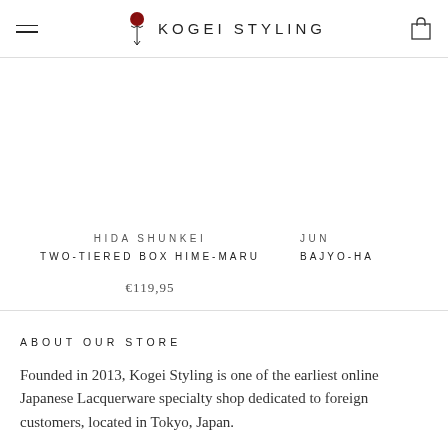Kogei Styling
HIDA SHUNKEI TWO-TIERED BOX HIME-MARU
€119,95
JUN BAJYO-H...
ABOUT OUR STORE
Founded in 2013, Kogei Styling is one of the earliest online Japanese Lacquerware specialty shop dedicated to foreign customers, located in Tokyo, Japan.